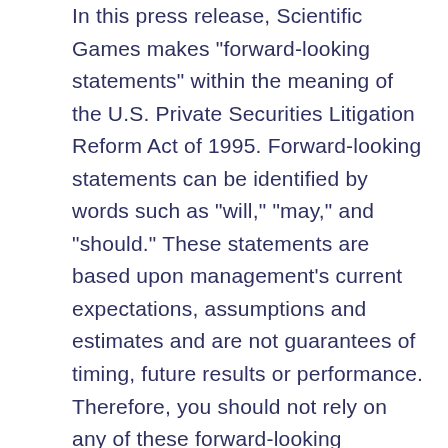In this press release, Scientific Games makes "forward-looking statements" within the meaning of the U.S. Private Securities Litigation Reform Act of 1995. Forward-looking statements can be identified by words such as "will," "may," and "should." These statements are based upon management's current expectations, assumptions and estimates and are not guarantees of timing, future results or performance. Therefore, you should not rely on any of these forward-looking statements as predictions of future events. Actual results may differ materially from those contemplated in these statements due to a variety of risks, uncertainties and other factors, including those factors described in our filings with the Securities and Exchange Commission (the “SEC”), including Scientific Games’ current reports on Form 8-K,